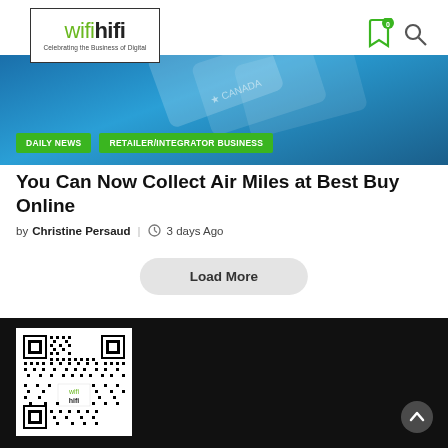wifihifi — Celebrating the Business of Digital
[Figure (screenshot): Navigation banner with blue background showing credit card and two green pill nav buttons: DAILY NEWS and RETAILER/INTEGRATOR BUSINESS]
You Can Now Collect Air Miles at Best Buy Online
by Christine Persaud | 3 days Ago
Load More
[Figure (other): QR code for wifihifi website with wifi hifi logo in center, on dark/black footer background]